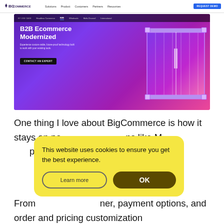[Figure (screenshot): BigCommerce website navigation bar with logo, nav links (Solutions, Product, Customers, Partners, Resources), and REQUEST DEMO button]
[Figure (screenshot): BigCommerce B2B Ecommerce Modernized hero banner with purple-to-pink gradient background, shipping container image, subtitle text, and CONTACT AN EXPERT button. Sub-navigation shows: BY USE CASE, Headless Commerce, B2B (active), Wholesale, Multi-Channel, International]
One thing I love about BigCommerce is how it stays on pa…ns like M…pt pre-fi…n of custo…
[Figure (screenshot): Cookie consent banner with yellow background. Text: 'This website uses cookies to ensure you get the best experience.' Two buttons: 'Learn more' (outline) and 'OK' (dark olive/brown filled)]
From…ner, payment options, and order and pricing customization